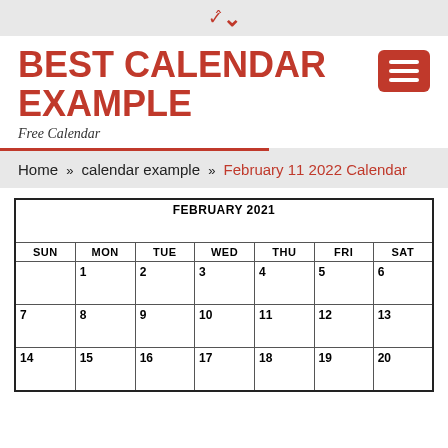▾
BEST CALENDAR EXAMPLE
Free Calendar
Home » calendar example » February 11 2022 Calendar
| FEBRUARY 2021 |  |  |  |  |  |  |
| --- | --- | --- | --- | --- | --- | --- |
| SUN | MON | TUE | WED | THU | FRI | SAT |
|  | 1 | 2 | 3 | 4 | 5 | 6 |
| 7 | 8 | 9 | 10 | 11 | 12 | 13 |
| 14 | 15 | 16 | 17 | 18 | 19 | 20 |